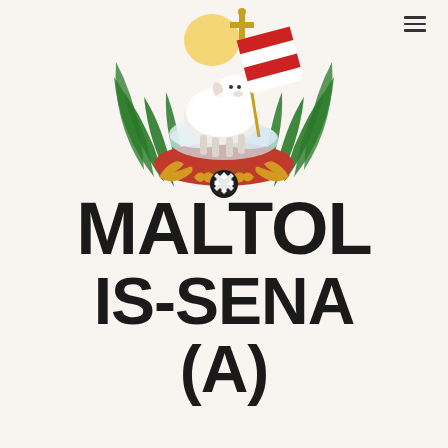[Figure (logo): Maltese coat of arms featuring a white lamb (Agnus Dei) carrying a red and white cross banner, surrounded by green palm fronds and golden baroque ornamental scroll, with a Maltese cross medallion at the center bottom, on a cream/white background]
MALTOL IS-SENA (A)